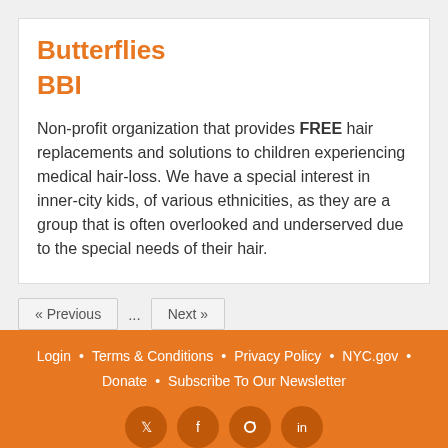Butterflies BBI
Non-profit organization that provides FREE hair replacements and solutions to children experiencing medical hair-loss. We have a special interest in inner-city kids, of various ethnicities, as they are a group that is often overlooked and underserved due to the special needs of their hair.
« Previous
...
Next »
Login • Terms & Conditions • Privacy Policy • NYC.gov • Donate • Subscribe To Our Newsletter